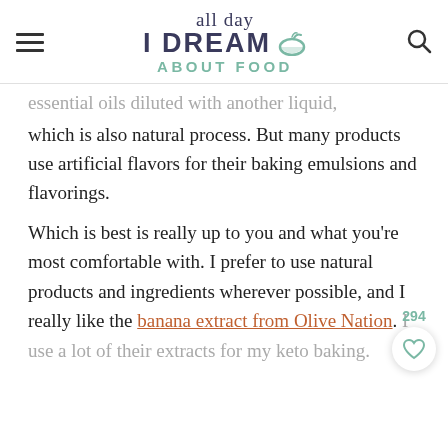all day I DREAM ABOUT FOOD
essential oils diluted with another liquid, which is also natural process. But many products use artificial flavors for their baking emulsions and flavorings.
Which is best is really up to you and what you're most comfortable with. I prefer to use natural products and ingredients wherever possible, and I really like the banana extract from Olive Nation. I use a lot of their extracts for my keto baking.